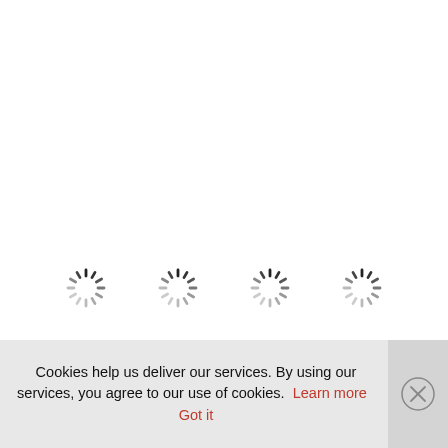[Figure (other): Four loading spinner icons arranged in a horizontal row, each showing a circular dashed/stroke loading animation in dark and light gray]
Cookies help us deliver our services. By using our services, you agree to our use of cookies. Learn more  Got it